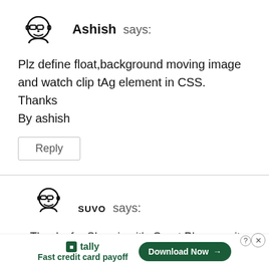[Figure (illustration): Avatar icon of a person with glasses and a beard, black line art]
Ashish says:
Plz define float,background moving image and watch clip tAg element in CSS.
Thanks
By ashish
Reply
[Figure (illustration): Avatar icon of a person with glasses and a beard, black line art]
suvo says:
Thanks for Shearing it's Great Please write more
[Figure (infographic): Advertisement bar: Tally - Fast credit card payoff, Download Now button]